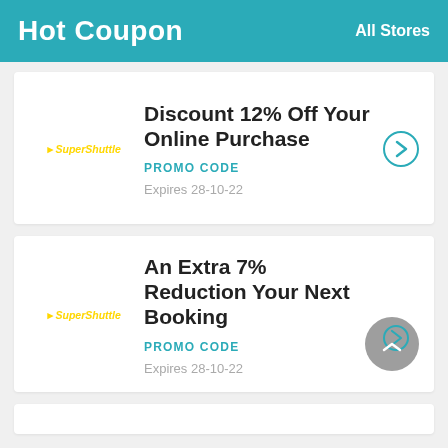Hot Coupon   All Stores
Discount 12% Off Your Online Purchase
PROMO CODE
Expires 28-10-22
An Extra 7% Reduction Your Next Booking
PROMO CODE
Expires 28-10-22